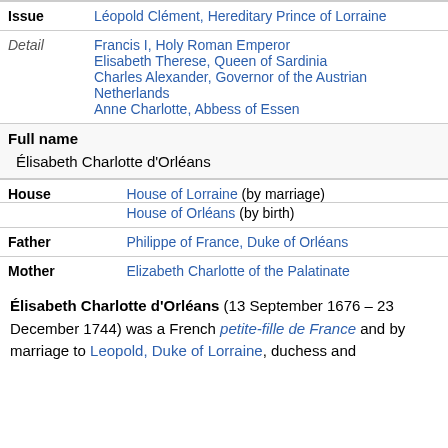| Issue | Léopold Clément, Hereditary Prince of Lorraine |
| Detail | Francis I, Holy Roman Emperor
Elisabeth Therese, Queen of Sardinia
Charles Alexander, Governor of the Austrian Netherlands
Anne Charlotte, Abbess of Essen |
Full name
Élisabeth Charlotte d'Orléans
| House | House of Lorraine (by marriage)
House of Orléans (by birth) |
| Father | Philippe of France, Duke of Orléans |
| Mother | Elizabeth Charlotte of the Palatinate |
Élisabeth Charlotte d'Orléans (13 September 1676 – 23 December 1744) was a French petite-fille de France and by marriage to Leopold, Duke of Lorraine, duchess and